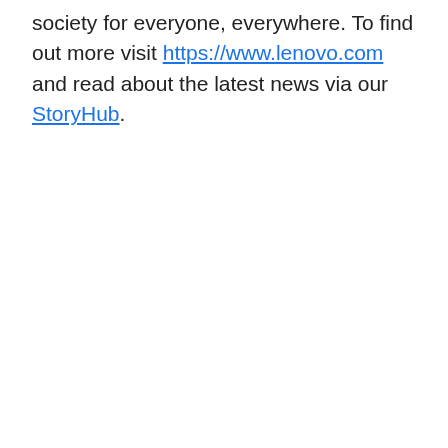society for everyone, everywhere. To find out more visit https://www.lenovo.com and read about the latest news via our StoryHub.
[Figure (screenshot): Dark card with white bold underlined heading 'Lenovo Delivers Historic Fiscal Year' and partial body text below, with Lenovo logo sidebar in blue on the right]
[Figure (infographic): Social sharing bar with Twitter, Facebook, LinkedIn, Reddit, and Pinterest circular icon buttons overlaid on the card image]